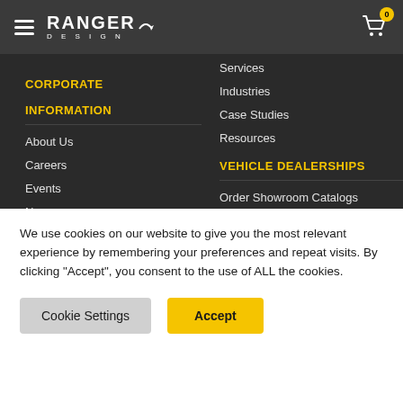Ranger Design — navigation header with hamburger menu and cart icon showing 0 items
CORPORATE INFORMATION
About Us
Careers
Events
News
LEARN
Training Videos
Services
Industries
Case Studies
Resources
VEHICLE DEALERSHIPS
Order Showroom Catalogs
Request Demo Display
HOW TO BUY
Find a Distributor
We use cookies on our website to give you the most relevant experience by remembering your preferences and repeat visits. By clicking “Accept”, you consent to the use of ALL the cookies.
Cookie Settings | Accept